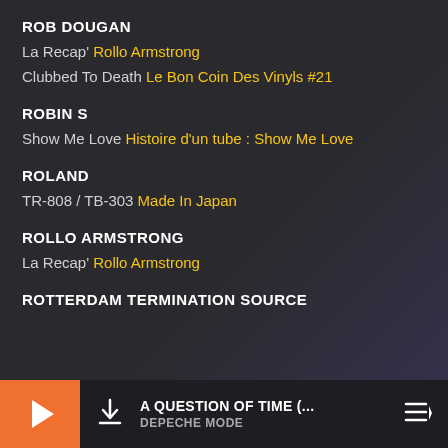ROB DOUGAN
La Recap' Rollo Armstrong
Clubbed To Death Le Bon Coin Des Vinyls #21
ROBIN S
Show Me Love Histoire d'un tube : Show Me Love
ROLAND
TR-808 / TB-303 Made In Japan
ROLLO ARMSTRONG
La Recap' Rollo Armstrong
ROTTERDAM TERMINATION SOURCE
A QUESTION OF TIME (... DEPECHE MODE